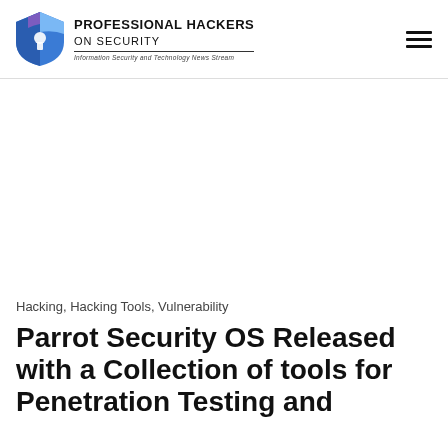Professional Hackers On Security — Information Security and Technology News Stream
Hacking, Hacking Tools, Vulnerability
Parrot Security OS Released with a Collection of tools for Penetration Testing and